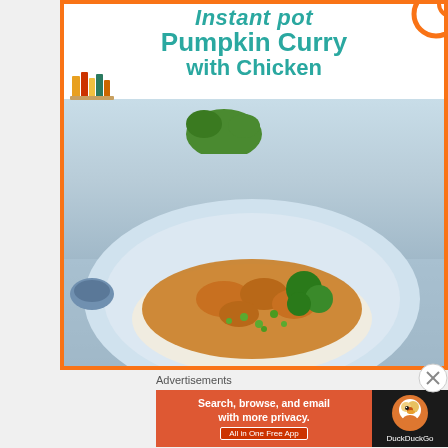[Figure (illustration): Advertisement for Instant Pot Pumpkin Curry with Chicken. Orange bordered ad with teal/green title text reading 'Instant pot Pumpkin Curry with Chicken'. Below the title is a food photograph of a plate of chicken curry with broccoli, peas and rice. A small stacked books icon appears in the top left, and orange circle decorative element in top right.]
Advertisements
[Figure (illustration): DuckDuckGo advertisement banner. Orange left section reads 'Search, browse, and email with more privacy.' with 'All in One Free App' button. Dark right section shows DuckDuckGo duck logo and brand name.]